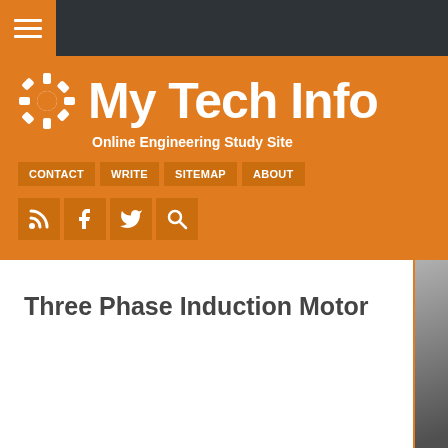My Tech Info — Online Engineering Study Site
CONTACT
WRITE
SITEMAP
ABOUT
Three Phase Induction Motor